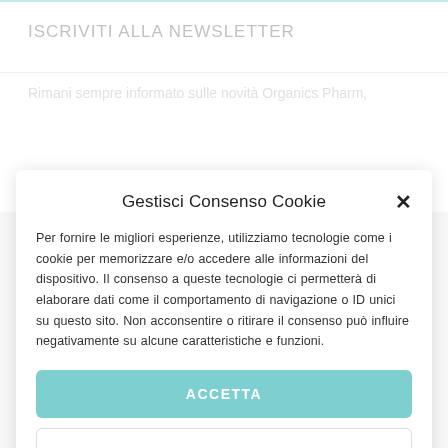ISCRIVITI ALLA NEWSLETTER
Rimani sempre informato sulle novità Organics Pharm,
Gestisci Consenso Cookie
Per fornire le migliori esperienze, utilizziamo tecnologie come i cookie per memorizzare e/o accedere alle informazioni del dispositivo. Il consenso a queste tecnologie ci permetterà di elaborare dati come il comportamento di navigazione o ID unici su questo sito. Non acconsentire o ritirare il consenso può influire negativamente su alcune caratteristiche e funzioni.
ACCETTA
NEGA
Cookie Policy  Privacy Policy